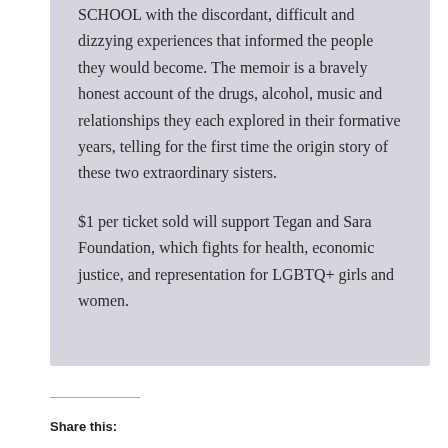SCHOOL with the discordant, difficult and dizzying experiences that informed the people they would become. The memoir is a bravely honest account of the drugs, alcohol, music and relationships they each explored in their formative years, telling for the first time the origin story of these two extraordinary sisters.

$1 per ticket sold will support Tegan and Sara Foundation, which fights for health, economic justice, and representation for LGBTQ+ girls and women.
Share this: